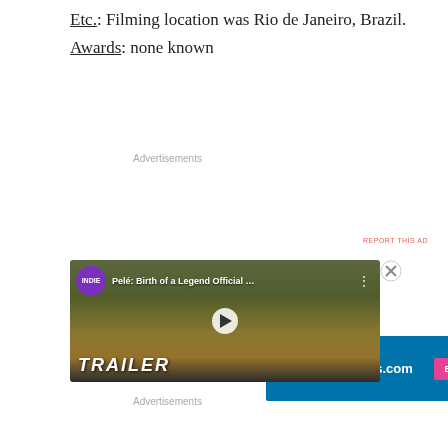Etc.: Filming location was Rio de Janeiro, Brazil.
Awards: none known
[Figure (screenshot): WordPress.com advertisement banner with blue background and 'Build Your Website' pink button]
[Figure (screenshot): YouTube video embed showing Pelé: Birth of a Legend Official Trailer with INDIE channel badge, play button, and TRAILER text overlay]
[Figure (screenshot): WordPress VIP advertisement with 'Learn more' button and colorful card graphics]